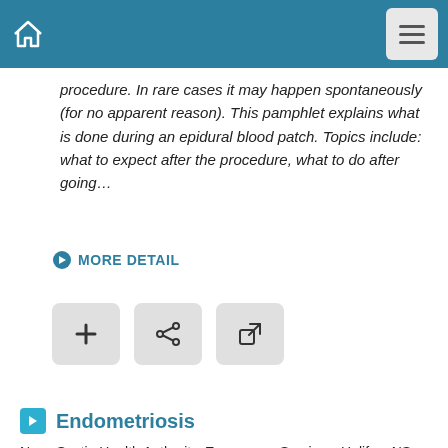procedure. In rare cases it may happen spontaneously (for no apparent reason). This pamphlet explains what is done during an epidural blood patch. Topics include: what to expect after the procedure, what to do after going…
MORE DETAIL
[Figure (other): Three action buttons: plus (+), share, and external link icons]
Endometriosis
Nova Scotia Health Authority. Emergency Services. Halifax, NS: Nova Scotia Health Authority , 2019.